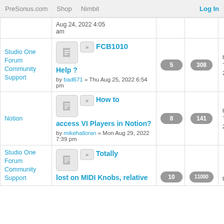PreSonus.com  Shop  Nimbit  Log In
| Category | Topic | Replies | Views | Last Post |
| --- | --- | --- | --- | --- |
|  | Aug 24, 2022 4:05 am |  |  |  |
| Studio One Forum Community Support | FCB1010 Help ?
by bad671 » Thu Aug 25, 2022 6:54 pm | 5 | 308 | by roland1
Tue Aug 30 2022 11:51 |
| Notion | How to access VI Players in Notion?
by mikehalloran » Mon Aug 29, 2022 7:39 pm | 8 | 141 | by JohnBW
Tue Aug 30 2022 11:10 |
| Studio One Forum Community Support | Totally lost on MIDI Knobs, relative
by ... | 10 | 11000+ | by reggie1979 |